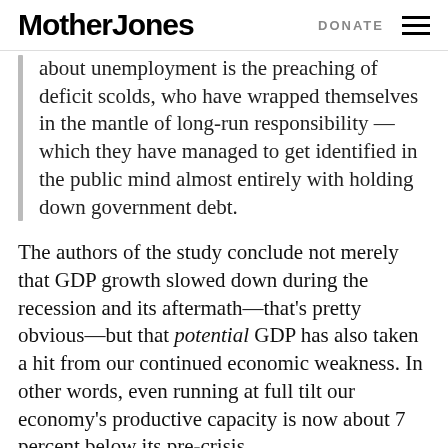Mother Jones   DONATE
about unemployment is the preaching of deficit scolds, who have wrapped themselves in the mantle of long-run responsibility — which they have managed to get identified in the public mind almost entirely with holding down government debt.
The authors of the study conclude not merely that GDP growth slowed down during the recession and its aftermath—that's pretty obvious—but that potential GDP has also taken a hit from our continued economic weakness. In other words, even running at full tilt our economy's productive capacity is now about 7 percent below its pre-crisis